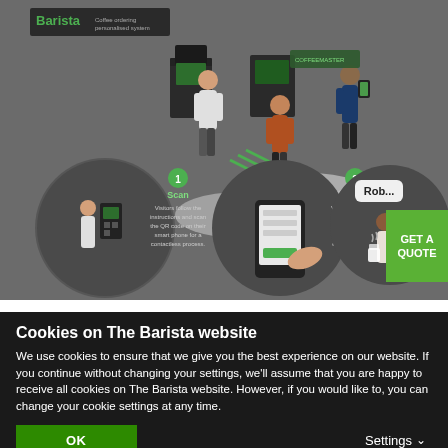[Figure (infographic): Isometric illustration of a coffee bar ordering system showing kiosks, people ordering via smartphone QR code scanning, and a person receiving a coffee. Below the scene are three step circles: (1) Scan - visitors follow instructions and scan QR code; (2) Order - visitors customise their drink order using the phone interface; and a third circle showing a person receiving coffee with a speech bubble saying 'Rob...'. A green button in the corner reads 'GET A QUOTE'.]
The process works like this:
Cookies on The Barista website
We use cookies to ensure that we give you the best experience on our website. If you continue without changing your settings, we'll assume that you are happy to receive all cookies on The Barista website. However, if you would like to, you can change your cookie settings at any time.